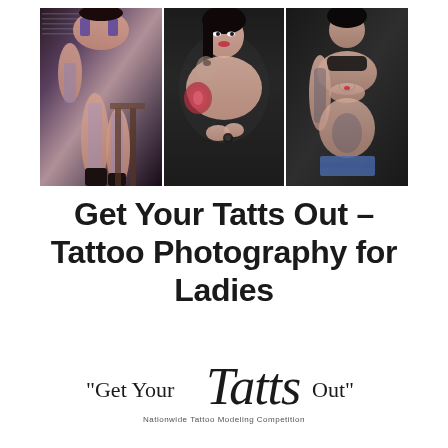[Figure (photo): Three-panel photo strip showing tattooed women in artistic photography poses. Left panel: woman in purple lingerie seated on stool with heavily tattooed legs. Center panel: woman with large rose tattoo on arm/shoulder. Right panel: woman showing tattooed torso and arm.]
Get Your Tatts Out – Tattoo Photography for Ladies
[Figure (logo): Get Your Tatts Out logo with cursive/script Tatts in large stylized font, surrounded by quotation marks and regular serif text reading 'Get Your Tatts Out', with subtitle 'Nationwide Tattoo Modeling Competition']